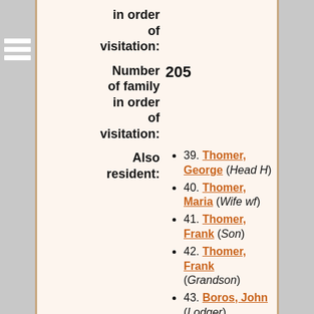in order of visitation:
Number of family in order of visitation: 205
Also resident:
39. Thomer, George (Head H)
40. Thomer, Maria (Wife wf)
41. Thomer, Frank (Son)
42. Thomer, Frank (Grandson)
43. Boros, John (Lodger)
44. Micusik, Paul